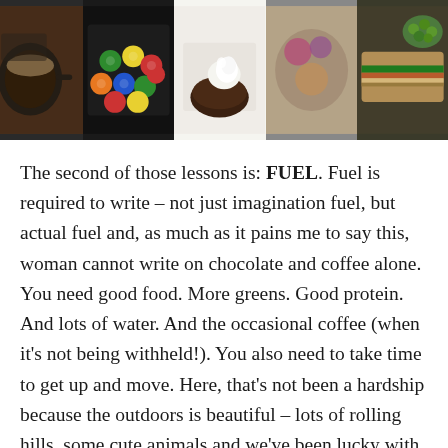[Figure (photo): A horizontal strip of five food/drink photos: a dark mug with coffee, a pile of M&M candies, a slice of chocolate cake with white cream, a close-up of colorful food on granite, and a sandwich with grapes.]
The second of those lessons is: FUEL. Fuel is required to write – not just imagination fuel, but actual fuel and, as much as it pains me to say this, woman cannot write on chocolate and coffee alone. You need good food. More greens. Good protein. And lots of water. And the occasional coffee (when it's not being withheld!). You also need to take time to get up and move. Here, that's not been a hardship because the outdoors is beautiful – lots of rolling hills, some cute animals and we've been lucky with the weather. But at home, sometimes, the last thing you want to do is go for a walk around the neighbourhood. It might be dark. Or too cold or too hot. Or raining. But suck it up Princess – because for your